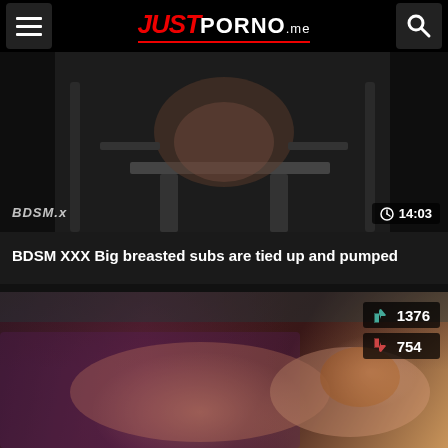JUST PORNO .me
[Figure (screenshot): Thumbnail image of BDSM video with BDSM.x watermark and 14:03 duration badge]
BDSM XXX Big breasted subs are tied up and pumped
[Figure (screenshot): Thumbnail image of adult video with rating: 1376 thumbs up, 754 thumbs down]